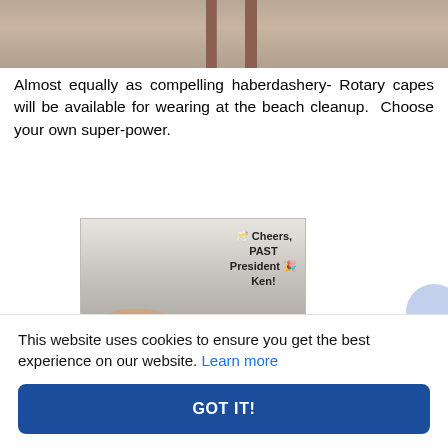[Figure (photo): Partial view of a person's legs, cropped at the top of the page]
Almost equally as compelling haberdashery- Rotary capes will be available for wearing at the beach cleanup.  Choose your own super-power.
[Figure (photo): Photo of a hand raising a glass in a toast at an indoor event, with overlay text reading 'Cheers, PAST President Ken!' with champagne and party emoji]
This website uses cookies to ensure you get the best experience on our website. Learn more
GOT IT!